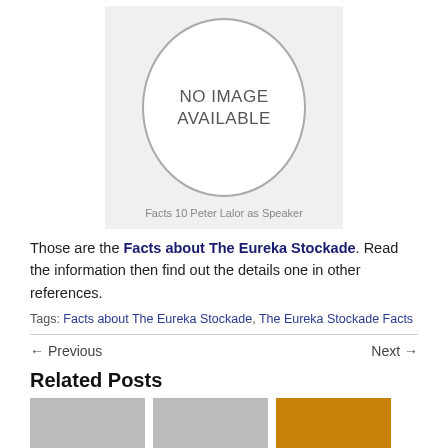[Figure (illustration): A placeholder image showing 'NO IMAGE AVAILABLE' inside an oval, on a gray background, with caption 'Facts 10 Peter Lalor as Speaker']
Facts 10 Peter Lalor as Speaker
Those are the Facts about The Eureka Stockade. Read the information then find out the details one in other references.
Tags: Facts about The Eureka Stockade, The Eureka Stockade Facts
← Previous   Next →
Related Posts